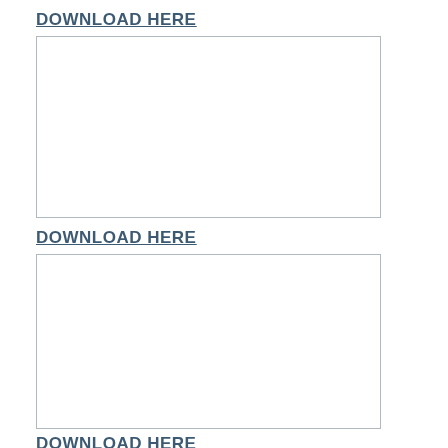DOWNLOAD HERE
[Figure (other): Empty white rectangular image placeholder with light gray border]
DOWNLOAD HERE
[Figure (other): Empty white rectangular image placeholder with light gray border]
DOWNLOAD HERE